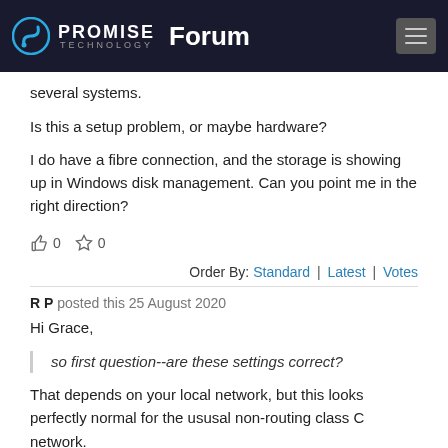PROMISE TECHNOLOGY Forum
several systems.
Is this a setup problem, or maybe hardware?
I do have a fibre connection, and the storage is showing up in Windows disk management. Can you point me in the right direction?
👍 0  ☆ 0
Order By: Standard | Latest | Votes
R P posted this 25 August 2020
Hi Grace,
so first question--are these settings correct?
That depends on your local network, but this looks perfectly normal for the ususal non-routing class C network.